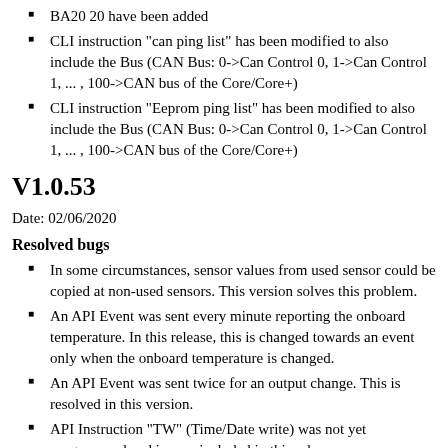BA20 20 have been added
CLI instruction "can ping list" has been modified to also include the Bus (CAN Bus: 0->Can Control 0, 1->Can Control 1, ... , 100->CAN bus of the Core/Core+)
CLI instruction "Eeprom ping list" has been modified to also include the Bus (CAN Bus: 0->Can Control 0, 1->Can Control 1, ... , 100->CAN bus of the Core/Core+)
V1.0.53
Date: 02/06/2020
Resolved bugs
In some circumstances, sensor values from used sensor could be copied at non-used sensors. This version solves this problem.
An API Event was sent every minute reporting the onboard temperature. In this release, this is changed towards an event only when the onboard temperature is changed.
An API Event was sent twice for an output change. This is resolved in this version.
API Instruction "TW" (Time/Date write) was not yet programmed and is now included in this release.